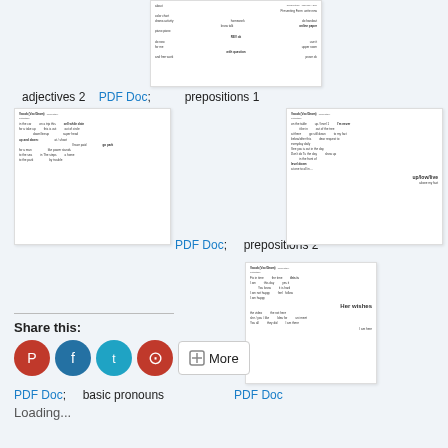[Figure (screenshot): Thumbnail of 'adjectives 2' worksheet document]
adjectives 2    PDF Doc;    prepositions 1
[Figure (screenshot): Thumbnail of prepositions 1 worksheet document (left)]
PDF Doc;    prepositions 2
[Figure (screenshot): Thumbnail of prepositions 2 worksheet document (right)]
[Figure (screenshot): Thumbnail of basic pronouns worksheet document]
PDF Doc;    basic pronouns    PDF Doc
Share this:
[Figure (infographic): Social share buttons: Pinterest, Facebook, Twitter, Pocket, More]
Loading...